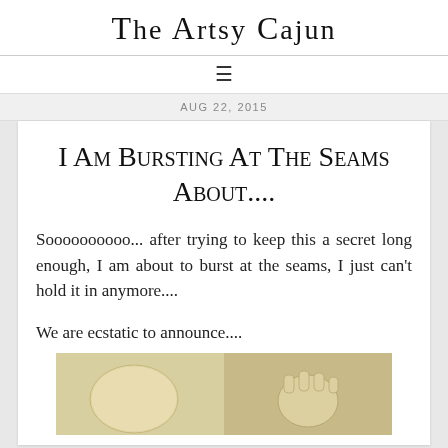The Artsy Cajun
≡
AUG 22, 2015
I Am Bursting At The Seams About....
Soooooooooo... after trying to keep this a secret long enough, I am about to burst at the seams, I just can't hold it in anymore....
We are ecstatic to announce....
[Figure (photo): Two side-by-side photos showing clay or dough sculptures — left appears to be an egg shape, right appears to be a heart or organic form with finger-like protrusions]